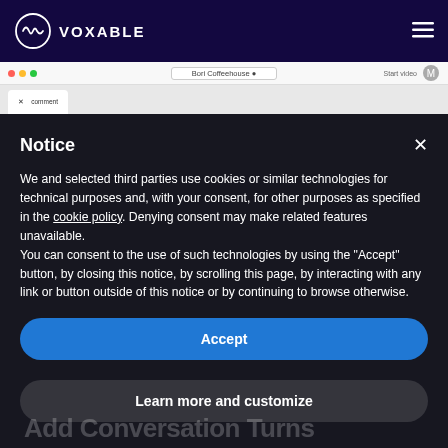VOXABLE
[Figure (screenshot): Browser screenshot strip showing a tab with 'Bori Coffeehouse' and browser chrome]
Notice
We and selected third parties use cookies or similar technologies for technical purposes and, with your consent, for other purposes as specified in the cookie policy. Denying consent may make related features unavailable.
You can consent to the use of such technologies by using the "Accept" button, by closing this notice, by scrolling this page, by interacting with any link or button outside of this notice or by continuing to browse otherwise.
Accept
Learn more and customize